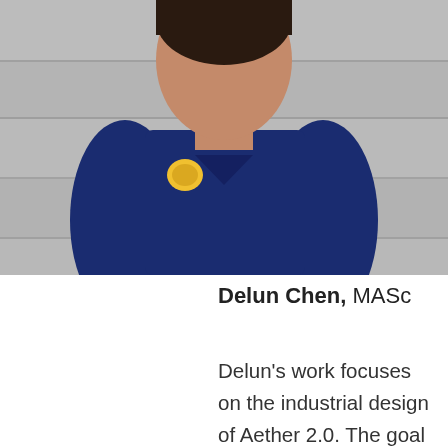[Figure (photo): Photo of Delun Chen wearing a navy blue sweatshirt with a yellow logo patch, standing in front of a grey wall. Only the torso and lower face/neck area visible, head partially cropped.]
Delun Chen, MASc
Delun's work focuses on the industrial design of Aether 2.0. The goal is to improve the appearance of the Aether robot and develop a user-friendly enclosure that is also compatible with Aether's core functionalities. Delun iterates through four development cycles to ideate conceptual prototypes. The robot